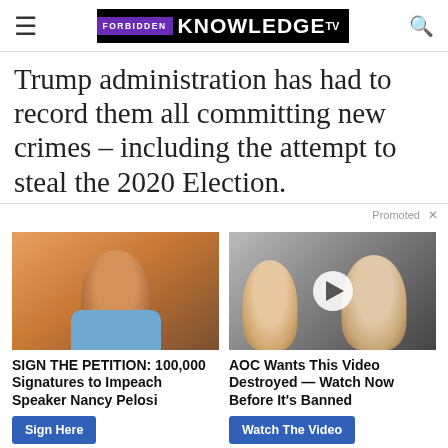FORBIDDEN KNOWLEDGE TV
Trump administration has had to record them all committing new crimes – including the attempt to steal the 2020 Election.
Promoted ×
[Figure (photo): Photo of Nancy Pelosi with orange background]
SIGN THE PETITION: 100,000 Signatures to Impeach Speaker Nancy Pelosi
Sign Here
[Figure (photo): Photo of Melania and Donald Trump with video play button overlay]
AOC Wants This Video Destroyed — Watch Now Before It's Banned
Watch The Video